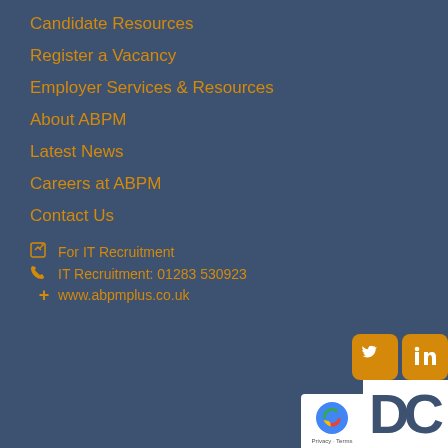Candidate Resources
Register a Vacancy
Employer Services & Resources
About ABPM
Latest News
Careers at ABPM
Contact Us
For IT Recruitment
IT Recruitment: 01283 530923
www.abpmplus.co.uk
[Figure (logo): Twitter and LinkedIn social media icons in orange rounded square buttons]
[Figure (logo): reCAPTCHA badge with Privacy and Terms links]
[Figure (logo): DC logo partial view at bottom]